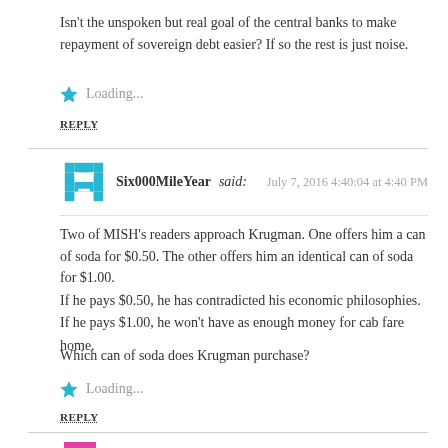Isn't the unspoken but real goal of the central banks to make repayment of sovereign debt easier? If so the rest is just noise.
Loading...
REPLY
Six000MileYear said:  July 7, 2016 4:40:04 at 4:40 PM
Two of MISH's readers approach Krugman. One offers him a can of soda for $0.50. The other offers him an identical can of soda for $1.00.

If he pays $0.50, he has contradicted his economic philosophies.
If he pays $1.00, he won't have as enough money for cab fare home.

Which can of soda does Krugman purchase?
Loading...
REPLY
Crysangle said:  July 7, 2016 8:40:56 at 8:40 PM